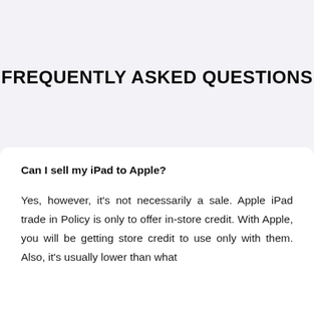FREQUENTLY ASKED QUESTIONS
Can I sell my iPad to Apple?
Yes, however, it's not necessarily a sale. Apple iPad trade in Policy is only to offer in-store credit. With Apple, you will be getting store credit to use only with them. Also, it's usually lower than what